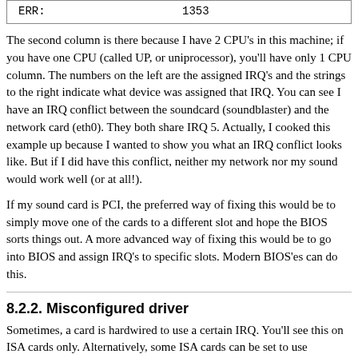| ERR: | 1353 |
The second column is there because I have 2 CPU's in this machine; if you have one CPU (called UP, or uniprocessor), you'll have only 1 CPU column. The numbers on the left are the assigned IRQ's and the strings to the right indicate what device was assigned that IRQ. You can see I have an IRQ conflict between the soundcard (soundblaster) and the network card (eth0). They both share IRQ 5. Actually, I cooked this example up because I wanted to show you what an IRQ conflict looks like. But if I did have this conflict, neither my network nor my sound would work well (or at all!).
If my sound card is PCI, the preferred way of fixing this would be to simply move one of the cards to a different slot and hope the BIOS sorts things out. A more advanced way of fixing this would be to go into BIOS and assign IRQ's to specific slots. Modern BIOS'es can do this.
8.2.2. Misconfigured driver
Sometimes, a card is hardwired to use a certain IRQ. You'll see this on ISA cards only. Alternatively, some ISA cards can be set to use